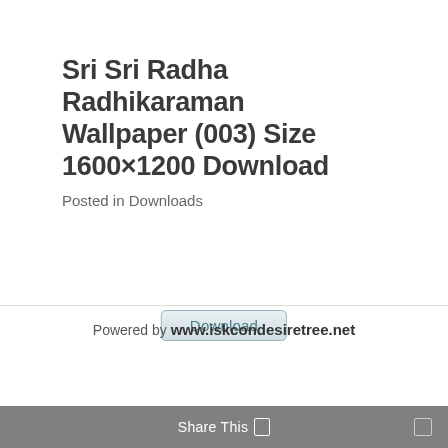Sri Sri Radha Radhikaraman Wallpaper (003) Size 1600×1200 Download
Posted in Downloads
[Figure (other): Download button — a rounded rectangle button with label 'Download']
Powered by www.iskcondesiretree.net
Share This